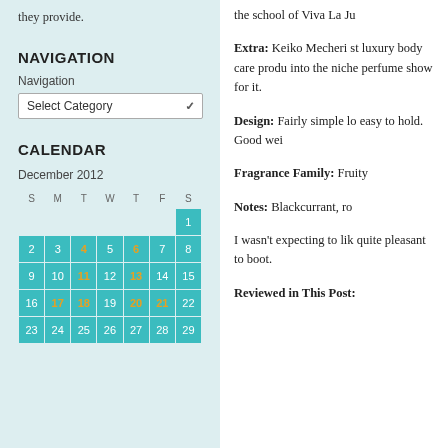they provide.
NAVIGATION
Navigation
Select Category (dropdown)
CALENDAR
December 2012
| S | M | T | W | T | F | S |
| --- | --- | --- | --- | --- | --- | --- |
|  |  |  |  |  |  | 1 |
| 2 | 3 | 4 | 5 | 6 | 7 | 8 |
| 9 | 10 | 11 | 12 | 13 | 14 | 15 |
| 16 | 17 | 18 | 19 | 20 | 21 | 22 |
| 23 | 24 | 25 | 26 | 27 | 28 | 29 |
the school of Viva La Ju
Extra: Keiko Mecheri st luxury body care produ into the niche perfume show for it.
Design: Fairly simple lo easy to hold. Good wei
Fragrance Family: Fruity
Notes: Blackcurrant, ro
I wasn't expecting to lik quite pleasant to boot.
Reviewed in This Post: